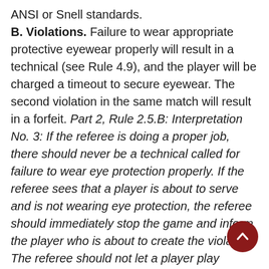ANSI or Snell standards. B. Violations. Failure to wear appropriate protective eyewear properly will result in a technical (see Rule 4.9), and the player will be charged a timeout to secure eyewear. The second violation in the same match will result in a forfeit. Part 2, Rule 2.5.B: Interpretation No. 3: If the referee is doing a proper job, there should never be a technical called for failure to wear eye protection properly. If the referee sees that a player is about to serve and is not wearing eye protection, the referee should immediately stop the game and inform the player who is about to create the violation. The referee should not let a player play without eye protection in place. If the player refuses to abide by this rule, the match shall be forfeited. Sometimes, however, the referee may not notice the eye protection infraction until after a rally has begun. If this occurs, the referee should stop play immediately and call a technical against the player in violation. The referee should
[Figure (other): Dark red circular scroll-up button with white chevron/arrow pointing upward, positioned at bottom right of the page.]